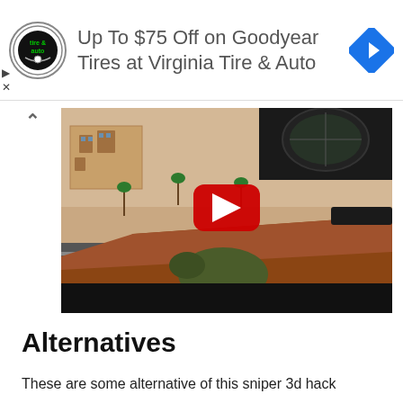[Figure (screenshot): Advertisement banner for Virginia Tire & Auto showing logo and text 'Up To $75 Off on Goodyear Tires at Virginia Tire & Auto' with a blue navigation icon on the right]
[Figure (screenshot): YouTube video thumbnail showing a sniper 3D game scene with a rifle scope, sniper rifle with wooden stock, and a bird's-eye city view in the background. A red YouTube play button is centered on the thumbnail.]
Alternatives
These are some alternative of this sniper 3d hack